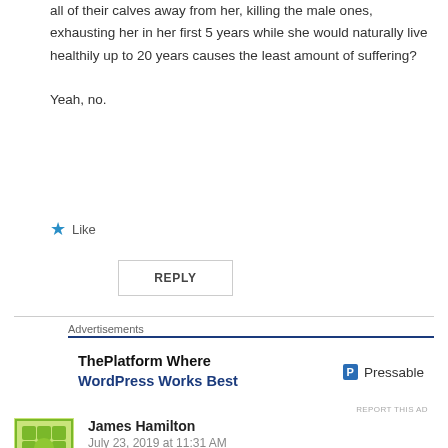all of their calves away from her, killing the male ones, exhausting her in her first 5 years while she would naturally live healthily up to 20 years causes the least amount of suffering?
Yeah, no.
★ Like
REPLY
Advertisements
[Figure (infographic): Advertisement banner: 'ThePlatform Where WordPress Works Best' with Pressable logo]
REPORT THIS AD
James Hamilton
July 23, 2019 at 11:31 AM
I have no idea where you get your information, but it clearly isn't from visiting a real dairy. The animal's welfare